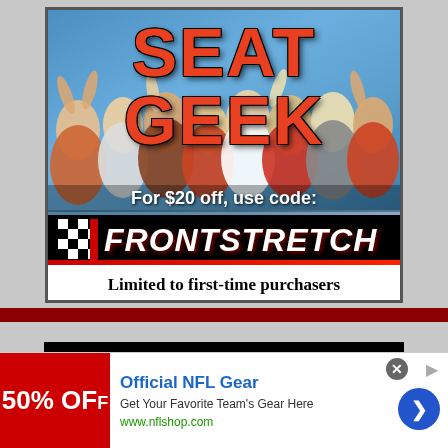[Figure (illustration): SeatGeek advertisement showing crowd of fans, text 'SEAT GEEK', 'For $20 off, use code:', 'FRONTSTRETCH' with checkered flag logo, 'Limited to first-time purchasers']
[Figure (illustration): The Pit Lane with Menards ARCA logo banner advertisement]
[Figure (illustration): Official NFL Gear overlay ad showing '50% OFF', 'Official NFL Gear', 'Get Your Favorite Team's Gear Here', 'www.nflshop.com' with close button and navigation arrow]